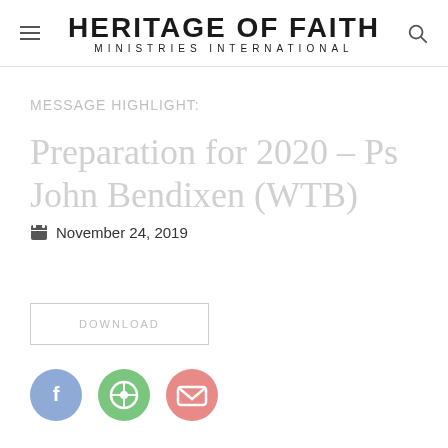HERITAGE OF FAITH MINISTRIES INTERNATIONAL
MESSAGE HIGHLIGHT:
Preparation for 2020 – Ps John Bendixen (WTB)
November 24, 2019
DOWNLOAD